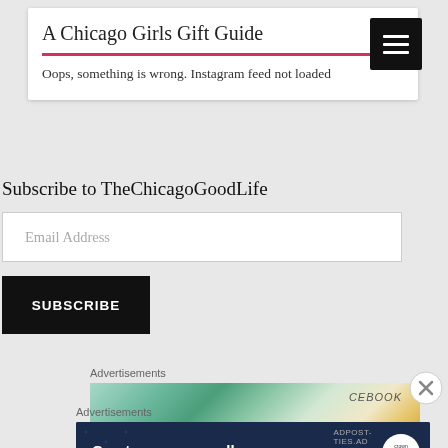A Chicago Girls Gift Guide
Oops, something is wrong. Instagram feed not loaded
Subscribe to TheChicagoGoodLife
Email Address
SUBSCRIBE
Advertisements
[Figure (screenshot): Advertisement banner with colorful green and yellow geometric pattern, text reads CEBOOK]
Advertisements
[Figure (infographic): Dark blue advertisement banner reading: Create surveys, polls, quizzes, and forms. With WordPress logo and circular badge on right.]